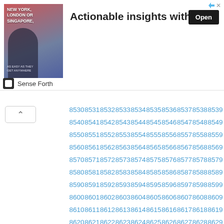[Figure (infographic): Advertisement banner: image of a man with 'NEW YORK, LONDON OR SINGAPORE,' text, headline 'Actionable insights with ease', Open button, Sense Forth logo]
8530 8531 8532 8533 8534 8535 8536 8537 8538 8539
8540 8541 8542 8543 8544 8545 8546 8547 8548 8549
8550 8551 8552 8553 8554 8555 8556 8557 8558 8559
8560 8561 8562 8563 8564 8565 8566 8567 8568 8569
8570 8571 8572 8573 8574 8575 8576 8577 8578 8579
8580 8581 8582 8583 8584 8585 8586 8587 8588 8589
8590 8591 8592 8593 8594 8595 8596 8597 8598 8599
8600 8601 8602 8603 8604 8605 8606 8607 8608 8609
8610 8611 8612 8613 8614 8615 8616 8617 8618 8619
8620 8621 8622 8623 8624 8625 8626 8627 8628 8629
8630 8631 8632 8633 8634 8635 8636 8637 8638 8639
8640 8641 8642 8643 8644 8645 8646 8647 8648 8649
8650 8651 8652 8653 8654 8655 8656 8657 8658 8659
8660 8661 8662 8663 8664 8665 8666 8667 8668 8669
8670 8671 8672 8673 8674 8675 8676 8677 8678 8679
8680 8681 8682 8683 8684 8685 8686 8687 8688 8689
8690 8691 8692 8693 8694 8695 8696 8697 8698 8699
8700 8701 8702 8703 8704 8705 8706 8707 8708 8709